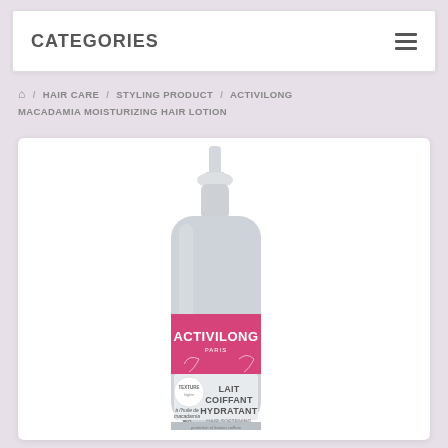CATEGORIES
/ HAIR CARE / STYLING PRODUCT / ACTIVILONG MACADAMIA MOISTURIZING HAIR LOTION
[Figure (photo): Activilong Macadamia Moisturizing Hair Lotion bottle with pump dispenser. Silver/grey bottle with pink Activilong Paris branding label reading LAIT COIFFANT HYDRATANT HAIR SOFTENING MOISTURIZER. Label mentions huile de macadamia BIO.]